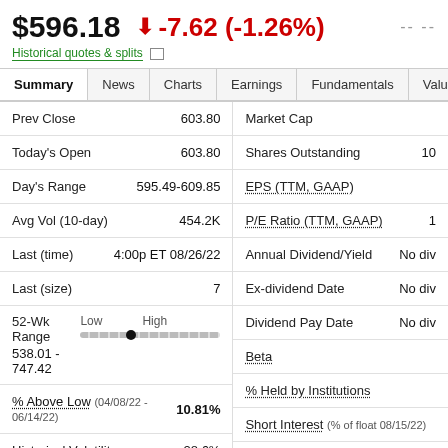$596.18  ↓ -7.62 (-1.26%)  -- --
Historical quotes & splits
| Summary | News | Charts | Earnings | Fundamentals | Valuation | O... |
| --- | --- | --- | --- | --- | --- | --- |
| Label | Value |
| --- | --- |
| Prev Close | 603.80 |
| Today's Open | 603.80 |
| Day's Range | 595.49-609.85 |
| Avg Vol (10-day) | 454.2K |
| Last (time) | 4:00p ET 08/26/22 |
| Last (size) | 7 |
| 52-Wk Range 538.01 - 747.42 | Low / High bar |
| % Above Low (04/08/22 - 06/14/22) | 10.81% |
| Historical Volatility | 28.6% |
| Market Cap |  |
| Shares Outstanding | 10... |
| EPS (TTM, GAAP) |  |
| P/E Ratio (TTM, GAAP) | 1... |
| Annual Dividend/Yield | No div... |
| Ex-dividend Date | No div... |
| Dividend Pay Date | No div... |
| Beta |  |
| % Held by Institutions |  |
| Short Interest (% of float 08/15/22) |  |